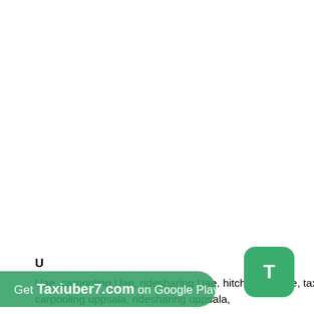U
Uae, carpooling Uae, ridesharing Uae, hitchhiking Uae, taxi Uae airport 2022, taxi Uae 2022, uber Uae, uppsala, carpooling uppsala, ridesharing uppsala,
[Figure (other): Green rounded square button with white letter T, resembling a mobile app icon]
[Figure (other): Green pill-shaped banner reading 'Get Taxiuber7.com on Google Play']